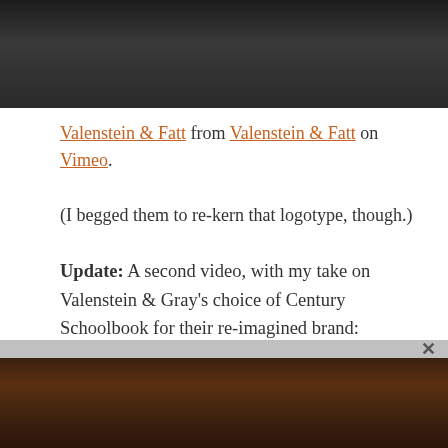[Figure (screenshot): Dark video screenshot at top of page]
Valenstein & Fatt from Valenstein & Fatt on Vimeo.
(I begged them to re-kern that logotype, though.)
Update: A second video, with my take on Valenstein & Gray's choice of Century Schoolbook for their re-imagined brand:
[Figure (screenshot): Dark video screenshot at bottom of page with close button]